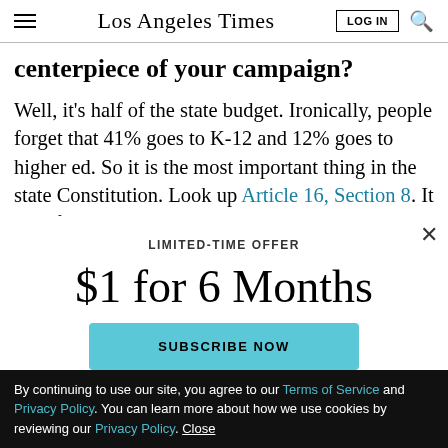Los Angeles Times  LOG IN
centerpiece of your campaign?
Well, it’s half of the state budget. Ironically, people forget that 41% goes to K-12 and 12% goes to higher ed. So it is the most important thing in the state Constitution. Look up Article 16, Section 8. It says from
LIMITED-TIME OFFER
$1 for 6 Months
SUBSCRIBE NOW
By continuing to use our site, you agree to our Terms of Service and Privacy Policy. You can learn more about how we use cookies by reviewing our Privacy Policy. Close